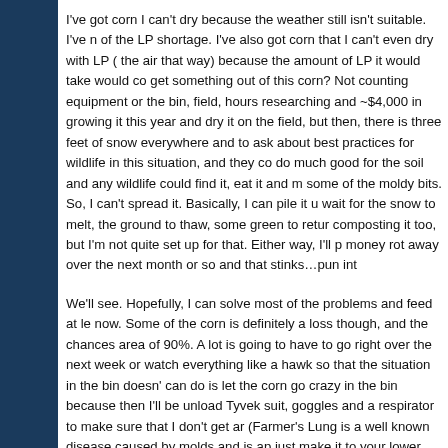I've got corn I can't dry because the weather still isn't suitable. I've n of the LP shortage. I've also got corn that I can't even dry with LP ( the air that way) because the amount of LP it would take would co get something out of this corn? Not counting equipment or the bin, field, hours researching and ~$4,000 in growing it this year and dry it on the field, but then, there is three feet of snow everywhere and to ask about best practices for wildlife in this situation, and they co do much good for the soil and any wildlife could find it, eat it and m some of the moldy bits. So, I can't spread it. Basically, I can pile it u wait for the snow to melt, the ground to thaw, some green to retur composting it too, but I'm not quite set up for that. Either way, I'll p money rot away over the next month or so and that stinks…pun int
We'll see. Hopefully, I can solve most of the problems and feed at le now. Some of the corn is definitely a loss though, and the chances area of 90%. A lot is going to have to go right over the next week or watch everything like a hawk so that the situation in the bin doesn' can do is let the corn go crazy in the bin because then I'll be unload Tyvek suit, goggles and a respirator to make sure that I don't get ar (Farmer's Lung is a well known disease caused by molds and is ap just make it to your lower lungs and scare them, or you can get the